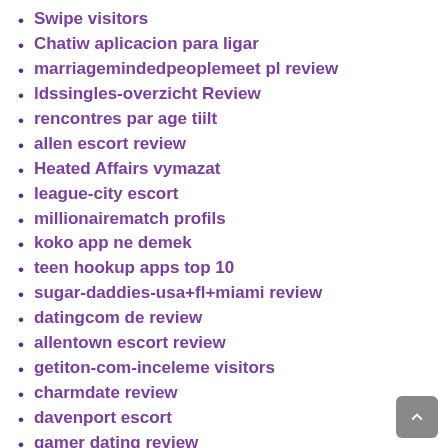Swipe visitors
Chatiw aplicacion para ligar
marriagemindedpeoplemeet pl review
ldssingles-overzicht Review
rencontres par age tiilt
allen escort review
Heated Affairs vymazat
league-city escort
millionairematch profils
koko app ne demek
teen hookup apps top 10
sugar-daddies-usa+fl+miami review
datingcom de review
allentown escort review
getiton-com-inceleme visitors
charmdate review
davenport escort
gamer dating review
kink-dating-nl sites
mingle2 bezplatna aplikace